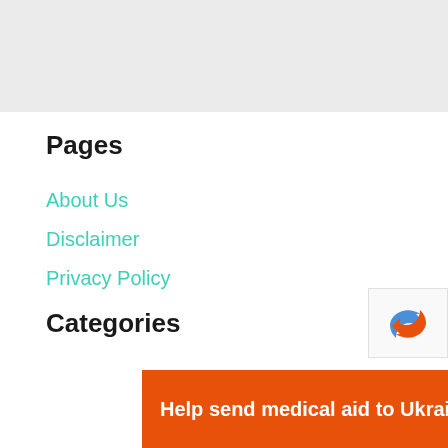[Figure (other): Grey banner/header area at top of page]
Pages
About Us
Disclaimer
Privacy Policy
Categories
[Figure (other): reCAPTCHA widget partial view in bottom right corner]
[Figure (other): Orange advertisement banner: Help send medical aid to Ukraine >> DirectRelief logo]